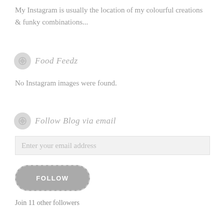My Instagram is usually the location of my colourful creations & funky combinations...
Food Feedz
No Instagram images were found.
Follow Blog via email
Enter your email address
FOLLOW
Join 11 other followers